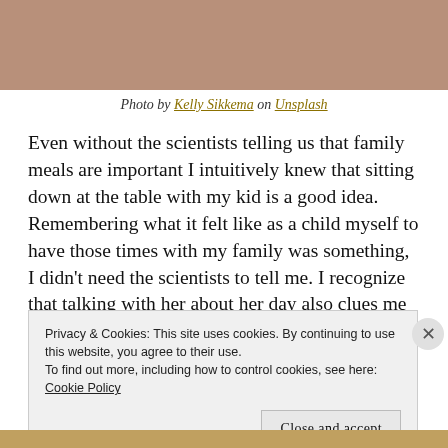[Figure (photo): Top portion of a photo showing a person, cropped at bottom, warm tones.]
Photo by Kelly Sikkema on Unsplash
Even without the scientists telling us that family meals are important I intuitively knew that sitting down at the table with my kid is a good idea. Remembering what it felt like as a child myself to have those times with my family was something, I didn't need the scientists to tell me. I recognize that talking with her about her day also clues me into what she's thinking, feeling, or going through because I know if I don't lay the groundwork
Privacy & Cookies: This site uses cookies. By continuing to use this website, you agree to their use.
To find out more, including how to control cookies, see here: Cookie Policy
Close and accept